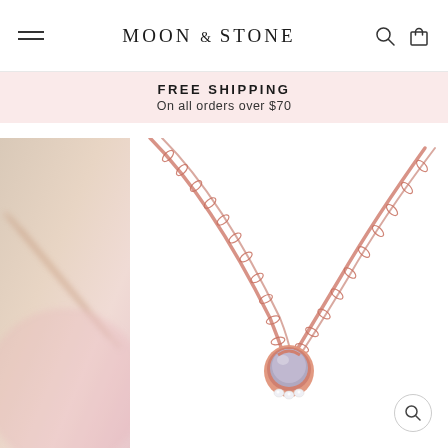MOON & STONE
FREE SHIPPING
On all orders over $70
[Figure (photo): Close-up product photo of a rose gold necklace with a lavender/grey cabochon stone pendant and small diamond accents at the base, on a white background. A blurred secondary jewelry image is partially visible on the left side.]